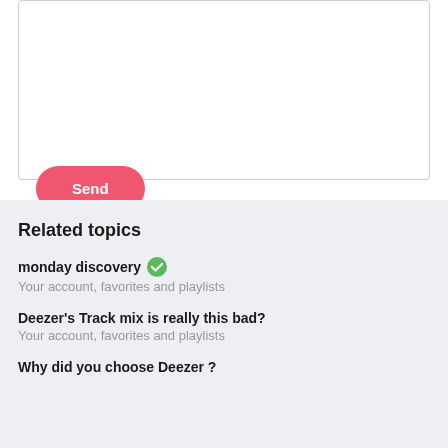[Figure (screenshot): White text area input box with a light grey border]
Send
Related topics
monday discovery ✓
Your account, favorites and playlists
Deezer's Track mix is really this bad?
Your account, favorites and playlists
Why did you choose Deezer ?